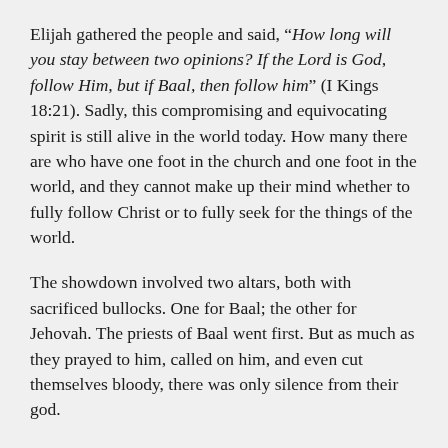Elijah gathered the people and said, “How long will you stay between two opinions? If the Lord is God, follow Him, but if Baal, then follow him” (I Kings 18:21). Sadly, this compromising and equivocating spirit is still alive in the world today. How many there are who have one foot in the church and one foot in the world, and they cannot make up their mind whether to fully follow Christ or to fully seek for the things of the world.
The showdown involved two altars, both with sacrificed bullocks. One for Baal; the other for Jehovah. The priests of Baal went first. But as much as they prayed to him, called on him, and even cut themselves bloody, there was only silence from their god.
When it was Elijah’s turn, he ordered them to drench the sacrifice on the altar of Jehovah. Then Elijah looked to God in prayer to show Himself. Suddenly, the fire of God fell out